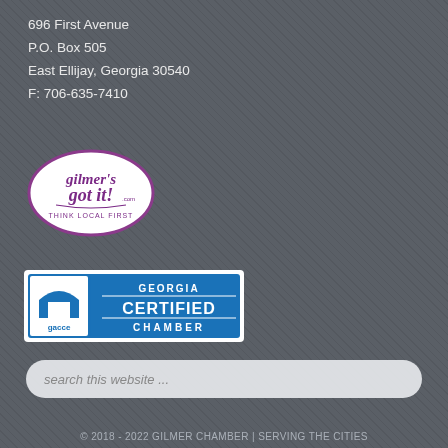696 First Avenue
P.O. Box 505
East Ellijay, Georgia 30540
F: 706-635-7410
[Figure (logo): Gilmer's Got It oval logo with cursive text and 'THINK LOCAL FIRST' tagline, purple on white background]
[Figure (logo): Georgia Certified Chamber badge with blue background, gacce logo on left, 'GEORGIA CERTIFIED CHAMBER' text on right]
search this website ...
© 2018 - 2022 GILMER CHAMBER | SERVING THE CITIES